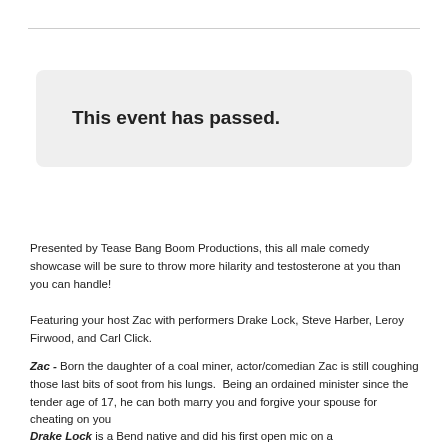This event has passed.
Presented by Tease Bang Boom Productions, this all male comedy showcase will be sure to throw more hilarity and testosterone at you than you can handle!
Featuring your host Zac with performers Drake Lock, Steve Harber, Leroy Firwood, and Carl Click.
Zac - Born the daughter of a coal miner, actor/comedian Zac is still coughing those last bits of soot from his lungs.  Being an ordained minister since the tender age of 17, he can both marry you and forgive your spouse for cheating on you
Drake Lock is a Bend native and did his first open mic on a